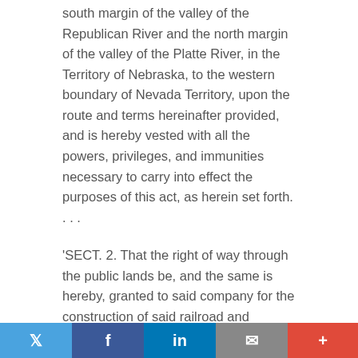south margin of the valley of the Republican River and the north margin of the valley of the Platte River, in the Territory of Nebraska, to the western boundary of Nevada Territory, upon the route and terms hereinafter provided, and is hereby vested with all the powers, privileges, and immunities necessary to carry into effect the purposes of this act, as herein set forth. . . .
'SECT. 2. That the right of way through the public lands be, and the same is hereby, granted to said company for the construction of said railroad and telegraph line; and the right, power, and authority is hereby given to said company to take from the public lands adjacent to the line of said road, earth, stone, timber, and other materials for the construction thereof; said right of way is granted to said railroad to the extent of two hundred feet in width on each side of said railroad where it may pass over the
Twitter | Facebook | LinkedIn | Email | +